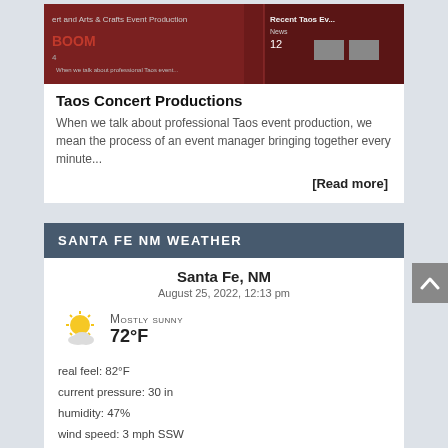[Figure (screenshot): Screenshot of a dark red website for Taos Concert Productions with text and event images]
Taos Concert Productions
When we talk about professional Taos event production, we mean the process of an event manager bringing together every minute...
[Read more]
SANTA FE NM WEATHER
Santa Fe, NM
August 25, 2022, 12:13 pm
Mostly sunny
72°F
real feel: 82°F
current pressure: 30 in
humidity: 47%
wind speed: 3 mph SSW